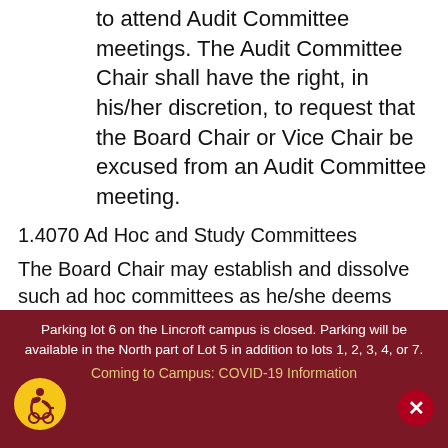to attend Audit Committee meetings. The Audit Committee Chair shall have the right, in his/her discretion, to request that the Board Chair or Vice Chair be excused from an Audit Committee meeting.
1.4070 Ad Hoc and Study Committees
The Board Chair may establish and dissolve such ad hoc committees as he/she deems necessary from time to time to secure and promote the welfare of the College and to assist the Board of Trustees in the performance of its functions. Any
Parking lot 6 on the Lincroft campus is closed. Parking will be available in the North part of Lot 5 in addition to lots 1, 2, 3, 4, or 7. Coming to Campus: COVID-19 Information